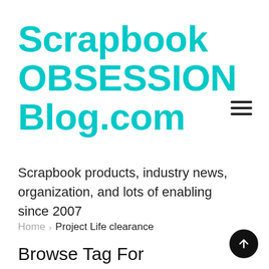Scrapbook OBSESSION Blog.com
Scrapbook products, industry news, organization, and lots of enabling since 2007
Home > Project Life clearance
Browse Tag For